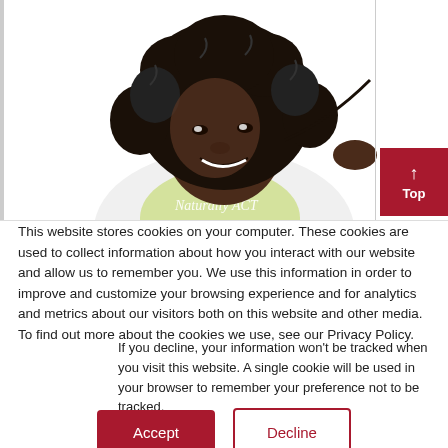[Figure (illustration): Illustrated woman with natural curly hair wearing a white shirt with 'Naturally ACT' text, holding a strand of hair, smiling. Top-right corner has a red 'Top' button with an upward arrow.]
This website stores cookies on your computer. These cookies are used to collect information about how you interact with our website and allow us to remember you. We use this information in order to improve and customize your browsing experience and for analytics and metrics about our visitors both on this website and other media. To find out more about the cookies we use, see our Privacy Policy.
If you decline, your information won't be tracked when you visit this website. A single cookie will be used in your browser to remember your preference not to be tracked.
Accept | Decline